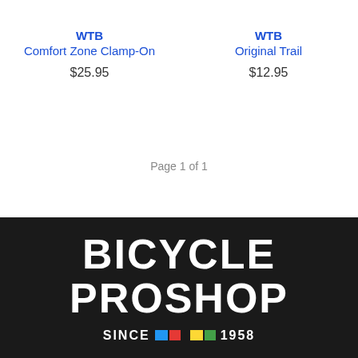WTB Comfort Zone Clamp-On $25.95
WTB Original Trail $12.95
Page 1 of 1
[Figure (logo): Bicycle Proshop logo — white text on black background, reads BICYCLE PROSHOP with SINCE [color blocks] 1958 below]